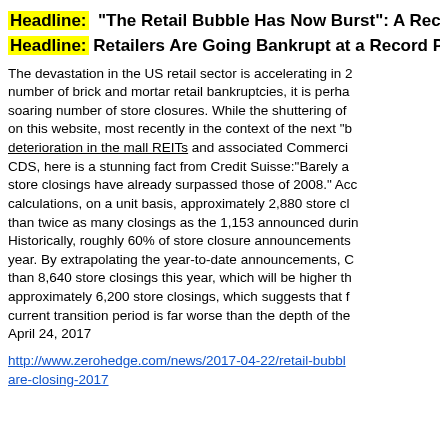Headline: "The Retail Bubble Has Now Burst": A Reco
Headline: Retailers Are Going Bankrupt at a Record Pace
The devastation in the US retail sector is accelerating in 2017. While much has been written about the soaring number of brick and mortar retail bankruptcies, it is perhaps the less discussed, but just as stunning, soaring number of store closures. While the shuttering of retail stores has been extensively discussed on this website, most recently in the context of the next "big short" and the accelerating deterioration in the mall REITs and associated Commercial Mortgage Backed Securities and CDS, here is a stunning fact from Credit Suisse:"Barely a quarter into 2017, year-to-date store closings have already surpassed those of 2008." According to Credit Suisse calculations, on a unit basis, approximately 2,880 store closures have been announced YTD, more than twice as many closings as the 1,153 announced during the same period last year. Historically, roughly 60% of store closure announcements are actually completed in the same year. By extrapolating the year-to-date announcements, Credit Suisse estimates more than 8,640 store closings this year, which will be higher than the historical peak of approximately 6,200 store closings, which suggests that from a store closure perspective the current transition period is far worse than the depth of the financial crisis. April 24, 2017
http://www.zerohedge.com/news/2017-04-22/retail-bubble-has-now-burst-record-number-stores-are-closing-2017